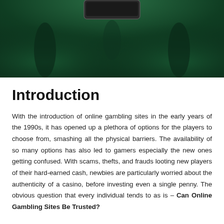[Figure (photo): Dark green background image, likely showing a casino or gambling-themed scene with dark green tones and partial figure silhouettes, with what appears to be a device or card at the top center.]
Introduction
With the introduction of online gambling sites in the early years of the 1990s, it has opened up a plethora of options for the players to choose from, smashing all the physical barriers. The availability of so many options has also led to gamers especially the new ones getting confused. With scams, thefts, and frauds looting new players of their hard-earned cash, newbies are particularly worried about the authenticity of a casino, before investing even a single penny. The obvious question that every individual tends to as is – Can Online Gambling Sites Be Trusted?